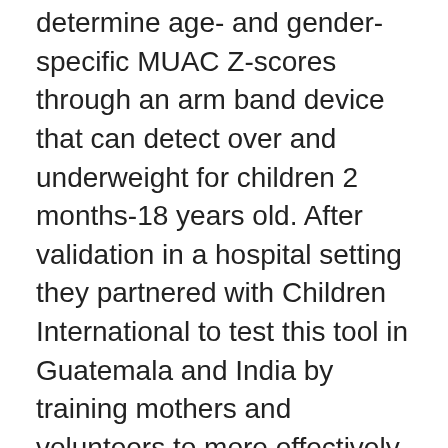determine age- and gender-specific MUAC Z-scores through an arm band device that can detect over and underweight for children 2 months-18 years old. After validation in a hospital setting they partnered with Children International to test this tool in Guatemala and India by training mothers and volunteers to more effectively address malnutrition in their communities. Smile train recently scaled innovative training materials to prevent and treat malnutrition among their cleft populations. This session told a story from three unique lens about challenges, solutions and how important steps and considerations along that path are crucial to scaling innovation that works. Experiences from the group were combined to create a framework to support future innovation and partnerships to more effectively and